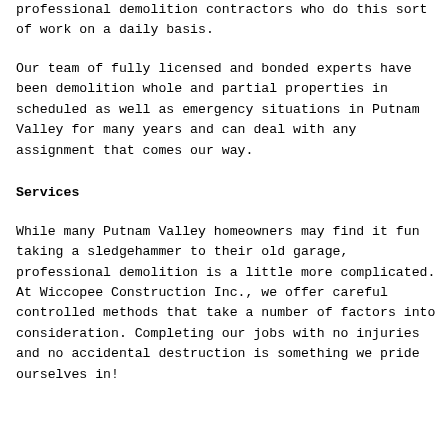professional demolition contractors who do this sort of work on a daily basis.
Our team of fully licensed and bonded experts have been demolition whole and partial properties in scheduled as well as emergency situations in Putnam Valley for many years and can deal with any assignment that comes our way.
Services
While many Putnam Valley homeowners may find it fun taking a sledgehammer to their old garage, professional demolition is a little more complicated. At Wiccopee Construction Inc., we offer careful controlled methods that take a number of factors into consideration. Completing our jobs with no injuries and no accidental destruction is something we pride ourselves in!